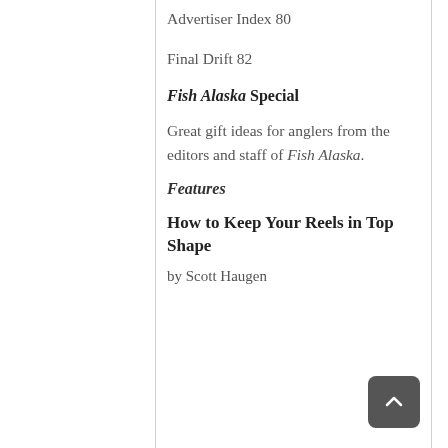Advertiser Index 80
Final Drift 82
Fish Alaska Special
Great gift ideas for anglers from the editors and staff of Fish Alaska.
Features
How to Keep Your Reels in Top Shape
by Scott Haugen